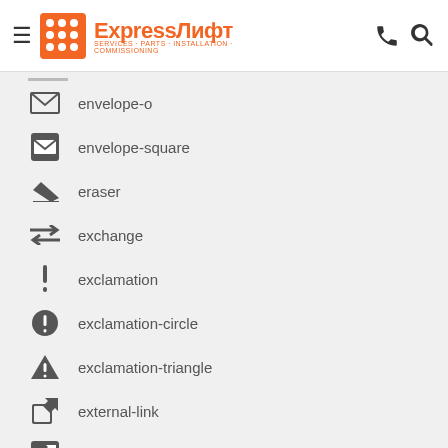ExpressЛифт — logo and navigation header
envelope-o
envelope-square
eraser
exchange
exclamation
exclamation-circle
exclamation-triangle
external-link
external-link-square
eye
eye-slash